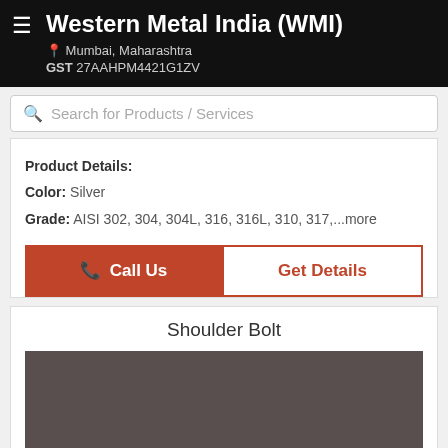Western Metal India (WMI)
Mumbai, Maharashtra
GST 27AAHPM4421G1ZV
Search for Products / Services
Product Details:
Color: Silver
Grade: AISI 302, 304, 304L, 316, 316L, 310, 317,...more
Call Us
Get Details
Shoulder Bolt
[Figure (photo): Dark brownish-gray product image placeholder for Shoulder Bolt]